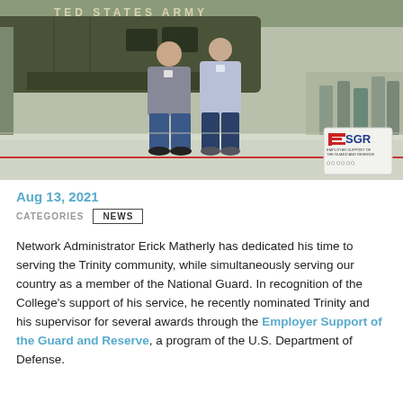[Figure (photo): Two men standing in front of a military helicopter in a hangar. Text 'UNITED STATES ARMY' visible on helicopter. ESGR logo badge visible in bottom right corner of photo.]
Aug 13, 2021
CATEGORIES  NEWS
Network Administrator Erick Matherly has dedicated his time to serving the Trinity community, while simultaneously serving our country as a member of the National Guard. In recognition of the College's support of his service, he recently nominated Trinity and his supervisor for several awards through the Employer Support of the Guard and Reserve, a program of the U.S. Department of Defense.